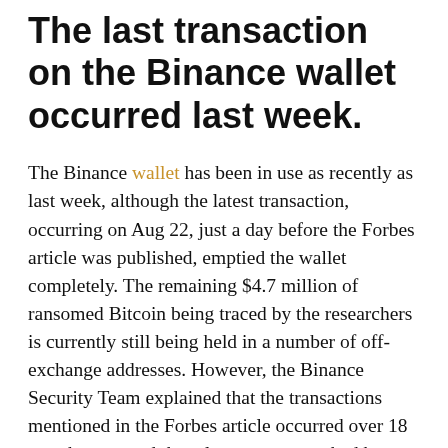The last transaction on the Binance wallet occurred last week.
The Binance wallet has been in use as recently as last week, although the latest transaction, occurring on Aug 22, just a day before the Forbes article was published, emptied the wallet completely. The remaining $4.7 million of ransomed Bitcoin being traced by the researchers is currently still being held in a number of off-exchange addresses. However, the Binance Security Team explained that the transactions mentioned in the Forbes article occurred over 18 months ago, and the relevant accounts had been tracked and reviewed at the time.